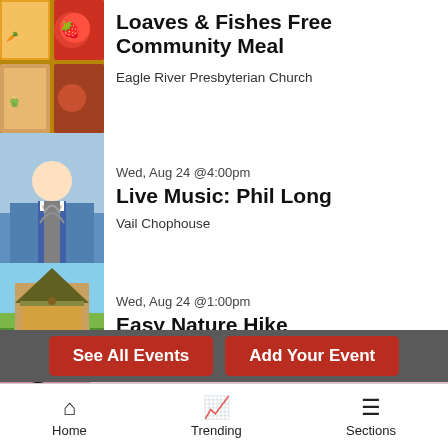Loaves & Fishes Free Community Meal
Eagle River Presbyterian Church
Wed, Aug 24 @4:00pm
Live Music: Phil Long
Vail Chophouse
Wed, Aug 24 @1:00pm
Easy Nature Hike
Nature Discovery Center
Wed, Aug 24 @5:00pm
AvonLIVE!
Harry A. Nottingham Park & Pavilion
Wed, Aug 24 @7:00pm
See All Events | Add Your Event
[Figure (screenshot): Victoria's Secret advertisement banner with model photo, logo, and Shop The Collection / Shop Now button]
Home  Trending  Sections